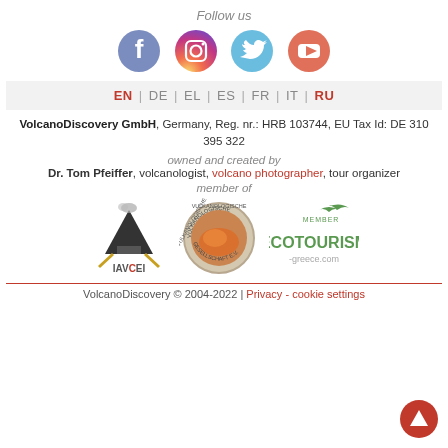Follow us
[Figure (illustration): Four social media icons: Facebook, Instagram, Twitter, YouTube]
EN | DE | EL | ES | FR | IT | RU
VolcanoDiscovery GmbH, Germany, Reg. nr.: HRB 103744, EU Tax Id: DE 310 395 322
owned and created by
Dr. Tom Pfeiffer, volcanologist, volcano photographer, tour organizer
member of
[Figure (logo): Three logos: IAVCEI, Vulkanologische Gesellschaft e.V., Ecotourism Greece Member]
VolcanoDiscovery © 2004-2022 | Privacy - cookie settings